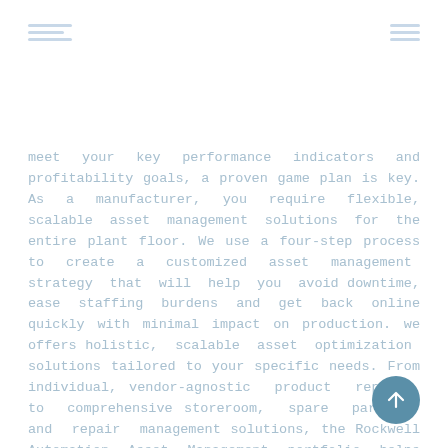[logo icon] [menu icon]
meet your key performance indicators and profitability goals, a proven game plan is key. As a manufacturer, you require flexible, scalable asset management solutions for the entire plant floor. We use a four-step process to create a customized asset management strategy that will help you avoid downtime, ease staffing burdens and get back online quickly with minimal impact on production. We offers holistic, scalable asset optimization solutions tailored to your specific needs. From individual, vendor-agnostic product repairs to comprehensive storeroom, spare parts, and repair management solutions, the Rockwell Automation Asset Management portfolio helps enhance the performance of enterprise-class assets of all types...